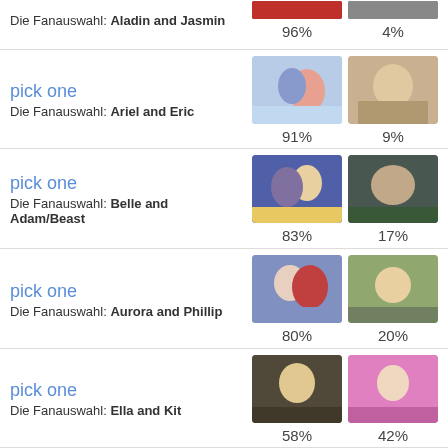Die Fanauswahl: Aladin and Jasmin
96%   4%
pick one
Die Fanauswahl: Ariel and Eric
91%   9%
pick one
Die Fanauswahl: Belle and Adam/Beast
83%   17%
pick one
Die Fanauswahl: Aurora and Phillip
80%   20%
pick one
Die Fanauswahl: Ella and Kit
58%   42%